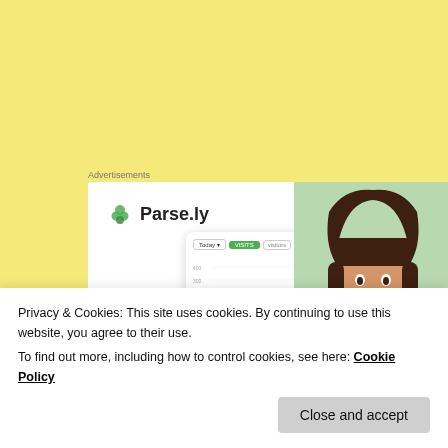Advertisements
[Figure (screenshot): Parse.ly advertisement banner showing Parse.ly logo with green leaf icon, a dashboard analytics card with a line chart, and a smiling woman in a green sweater. Below the dashboard card is the beginning of the word 'Content' in large bold text.]
Privacy & Cookies: This site uses cookies. By continuing to use this website, you agree to their use.
To find out more, including how to control cookies, see here: Cookie Policy
Close and accept